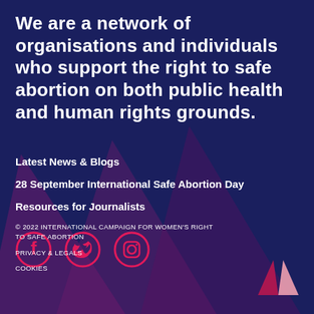We are a network of organisations and individuals who support the right to safe abortion on both public health and human rights grounds.
Latest News & Blogs
28 September International Safe Abortion Day
Resources for Journalists
[Figure (illustration): Social media icons: Facebook, Twitter, Instagram in pink/red circles]
© 2022 INTERNATIONAL CAMPAIGN FOR WOMEN'S RIGHT TO SAFE ABORTION

PRIVACY & LEGALS

COOKIES